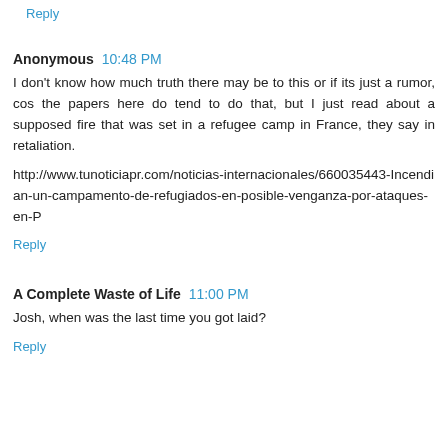Reply
Anonymous  10:48 PM
I don't know how much truth there may be to this or if its just a rumor, cos the papers here do tend to do that, but I just read about a supposed fire that was set in a refugee camp in France, they say in retaliation.
http://www.tunoticiapr.com/noticias-internacionales/660035443-Incendian-un-campamento-de-refugiados-en-posible-venganza-por-ataques-en-P
Reply
A Complete Waste of Life  11:00 PM
Josh, when was the last time you got laid?
Reply